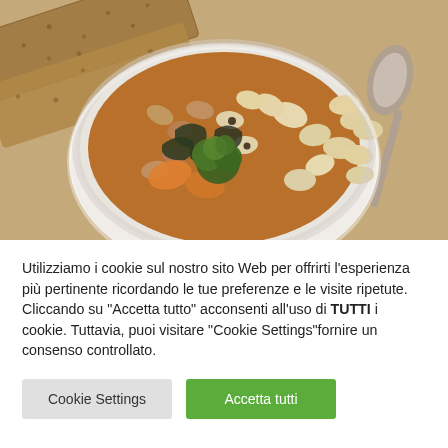[Figure (photo): Overhead view of a white bowl of bean and vegetable soup with mixed legumes, dark leafy greens, carrots, and a sprig of fresh parsley, served on a burlap cloth with crackers/flatbread and a metal spoon to the upper right. Warm brown-orange tones.]
Utilizziamo i cookie sul nostro sito Web per offrirti l'esperienza più pertinente ricordando le tue preferenze e le visite ripetute. Cliccando su "Accetta tutto" acconsenti all'uso di TUTTI i cookie. Tuttavia, puoi visitare "Cookie Settings"fornire un consenso controllato.
Cookie Settings
Accetta tutti